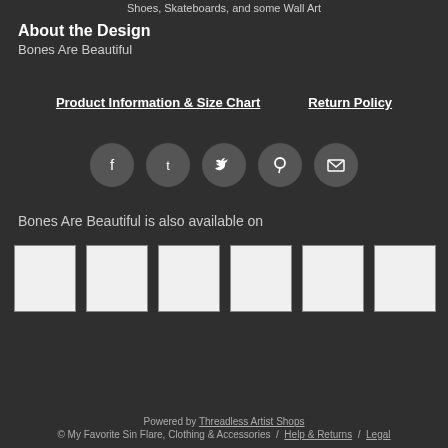Shoes, Skateboards, and some Wall Art
About the Design
Bones Are Beautiful
Product Information & Size Chart     Return Policy
[Figure (infographic): Row of 5 social media icon circles: Facebook, Tumblr, Twitter, Pinterest, Email]
Bones Are Beautiful is also available on
[Figure (infographic): Row of 6 white product thumbnail images]
Powered by Threadless Artist Shops
© My Favorite Sin Flare, Clothing & Accessories / Help & Returns / Legal